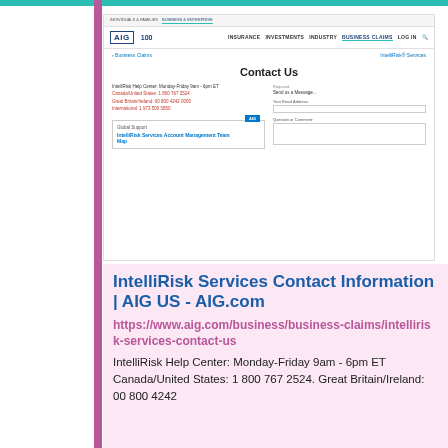[Figure (screenshot): Screenshot of AIG.com IntelliRisk Services Contact Us page showing navigation bar with AIG 100 logo, Business Claims section, a Contact Us heading, phone number details for IntelliRisk Help Center, Global Support section with IntelliRisk Services Account Management Team Map link, and a contact form with Send us a message, Your Email Address, and Question or Comment fields.]
IntelliRisk Services Contact Information | AIG US - AIG.com
https://www.aig.com/business/business-claims/intellirisk-services-contact-us
IntelliRisk Help Center: Monday-Friday 9am - 6pm ET Canada/United States: 1 800 767 2524. Great Britain/Ireland: 00 800 4242